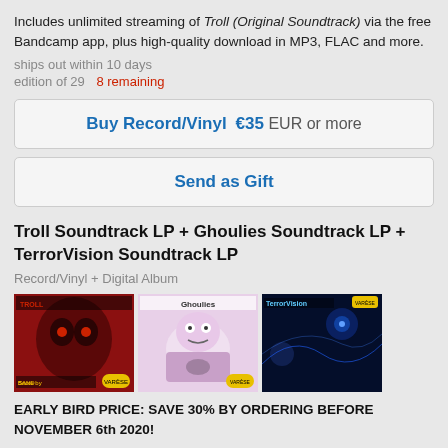Includes unlimited streaming of Troll (Original Soundtrack) via the free Bandcamp app, plus high-quality download in MP3, FLAC and more.
ships out within 10 days
edition of 29   8 remaining
Buy Record/Vinyl  €35 EUR or more
Send as Gift
Troll Soundtrack LP + Ghoulies Soundtrack LP + TerrorVision Soundtrack LP
Record/Vinyl + Digital Album
[Figure (photo): Three album covers side by side: Troll soundtrack (red/dark background), Ghoulies soundtrack (pink/purple background with monster), TerrorVision soundtrack (dark blue sci-fi background)]
EARLY BIRD PRICE: SAVE 30% BY ORDERING BEFORE NOVEMBER 6th 2020!
*this is a pre-order - ships around November 6th 2020*
The big EMPIRE PICTURES combo from Richard Band!